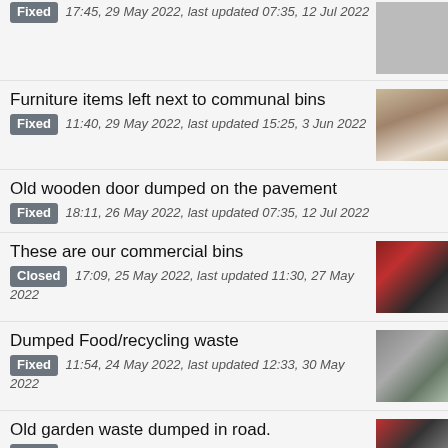Fixed 17:45, 29 May 2022, last updated 07:35, 12 Jul 2022
Furniture items left next to communal bins
Fixed 11:40, 29 May 2022, last updated 15:25, 3 Jun 2022
Old wooden door dumped on the pavement
Fixed 18:11, 26 May 2022, last updated 07:35, 12 Jul 2022
These are our commercial bins
Closed 17:09, 25 May 2022, last updated 11:30, 27 May 2022
Dumped Food/recycling waste
Fixed 11:54, 24 May 2022, last updated 12:33, 30 May 2022
Old garden waste dumped in road.
Fixed 17:44, 20 May 2022, last updated 15:07, 29 May 2022
Continuous dog pooing in communal grass areas